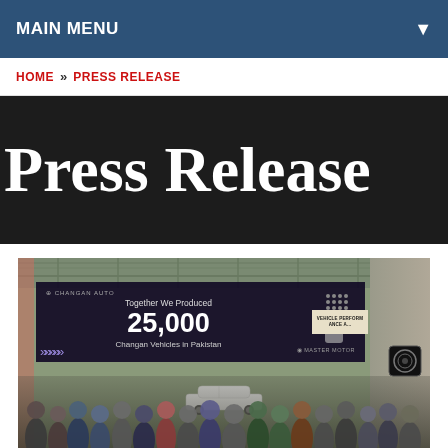MAIN MENU
HOME » PRESS RELEASE
Press Release
[Figure (photo): Group photo at a Changan Auto facility in Pakistan with a large banner reading 'Together We Produced 25,000 Changan Vehicles in Pakistan', with staff and executives standing in front of a white SUV in a warehouse setting.]